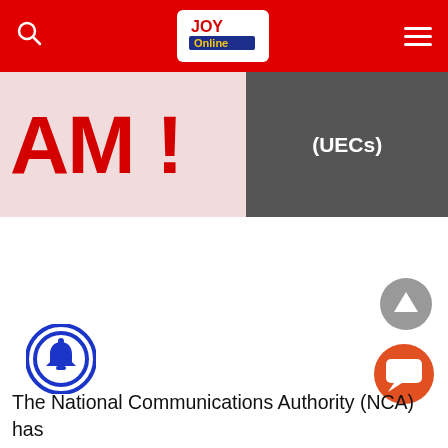JOY Online
[Figure (photo): Partial text reading 'PAM!' on a red background on the left, and a dark sign with white text reading '(UECs)' on the right]
The National Communications Authority (NCA) has